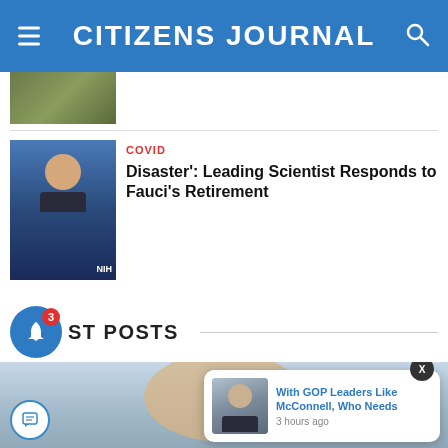CITIZENS JOURNAL
[Figure (photo): Partial thumbnail image at top of article listing]
[Figure (photo): Dr. Fauci at NIH press event, wearing suit and tie in front of NIH backdrop]
COVID
Disaster': Leading Scientist Responds to Fauci's Retirement
ST POSTS
[Figure (photo): Large close-up face photo at bottom of page, with notification popup overlay showing McConnell article]
With GOP Leaders Like McConnell, Who Needs
3 hours ago